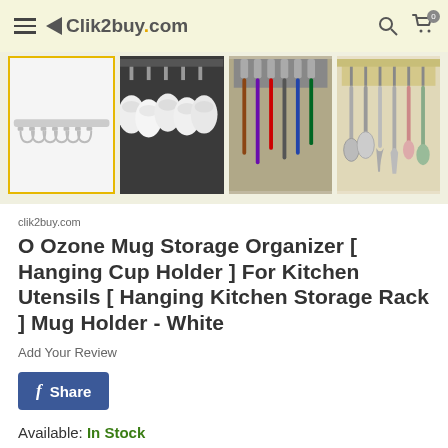Clik2buy.com
[Figure (photo): Four product images of a mug storage organizer/hanging cup holder rack. First image shows the white metal rack with hooks on white background. Second shows white mugs hanging from a dark under-cabinet rack. Third shows colorful items hanging from hooks under a shelf. Fourth shows kitchen utensils hanging from hooks.]
clik2buy.com
O Ozone Mug Storage Organizer [ Hanging Cup Holder ] For Kitchen Utensils [ Hanging Kitchen Storage Rack ] Mug Holder - White
Add Your Review
f Share
Available: In Stock